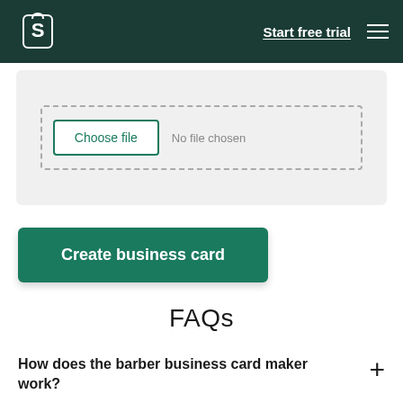Start free trial
[Figure (screenshot): File input area with a 'Choose file' button and 'No file chosen' text inside a dashed border box on a light grey card background]
Create business card
FAQs
How does the barber business card maker work?